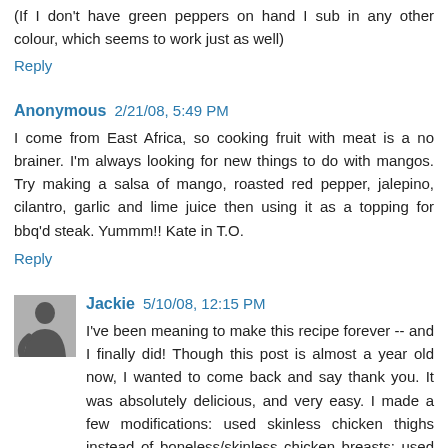(If I don't have green peppers on hand I sub in any other colour, which seems to work just as well)
Reply
Anonymous 2/21/08, 5:49 PM
I come from East Africa, so cooking fruit with meat is a no brainer. I'm always looking for new things to do with mangos. Try making a salsa of mango, roasted red pepper, jalepino, cilantro, garlic and lime juice then using it as a topping for bbq'd steak. Yummm!! Kate in T.O.
Reply
[Figure (photo): User avatar image, small square thumbnail of a person in dark clothing]
Jackie 5/10/08, 12:15 PM
I've been meaning to make this recipe forever -- and I finally did! Though this post is almost a year old now, I wanted to come back and say thank you. It was absolutely delicious, and very easy. I made a few modifications: used skinless chicken thighs instead of boneless/skinless chicken breasts; used coconut milk instead of milk; used a